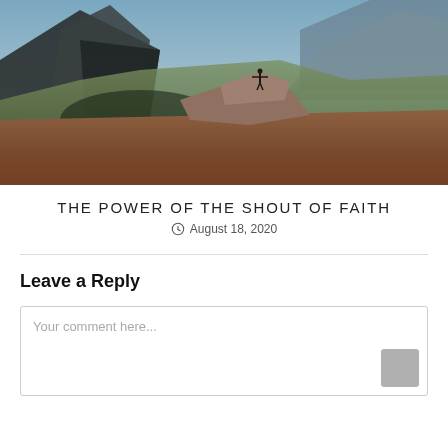[Figure (photo): Landscape photo showing a dramatic mountain and valley scene with a person standing on rocks with arms outstretched, warm earth tones in foreground and cooler tones in background]
THE POWER OF THE SHOUT OF FAITH
August 18, 2020
Leave a Reply
Your comment here...